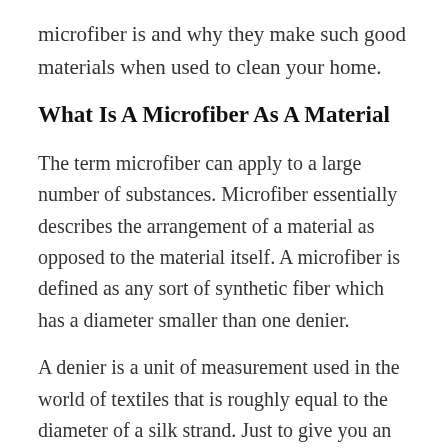microfiber is and why they make such good materials when used to clean your home.
What Is A Microfiber As A Material
The term microfiber can apply to a large number of substances. Microfiber essentially describes the arrangement of a material as opposed to the material itself. A microfiber is defined as any sort of synthetic fiber which has a diameter smaller than one denier.
A denier is a unit of measurement used in the world of textiles that is roughly equal to the diameter of a silk strand. Just to give you an idea of how small this really is, to make a silk ti